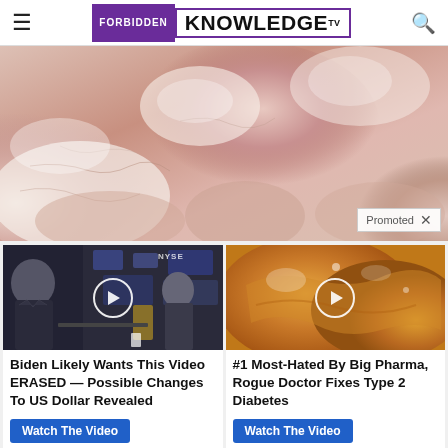Forbidden Knowledge TV
[Figure (photo): Close-up photo of dry, cracked skin on toes/feet with white cream or flaky skin texture. 'Promoted X' badge overlaid at bottom right.]
[Figure (photo): Video thumbnail showing a man in a suit on a stock exchange floor (NYSE visible). Play button overlay.]
Biden Likely Wants This Video ERASED — Possible Changes To US Dollar Revealed
Watch The Video
[Figure (photo): Video thumbnail showing close-up of amber/brown food substance. Play button overlay.]
#1 Most-Hated By Big Pharma, Rogue Doctor Fixes Type 2 Diabetes
Watch The Video